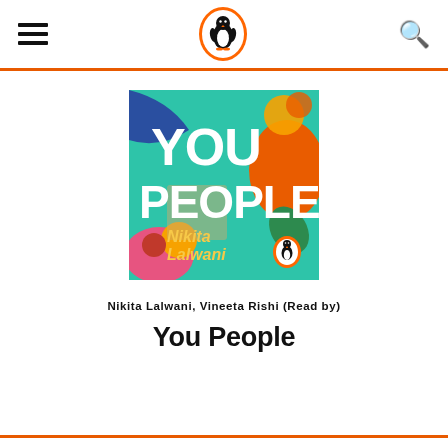Penguin Books navigation header with hamburger menu, Penguin logo, and search icon
[Figure (illustration): Book cover for 'You People' by Nikita Lalwani. Teal/turquoise background with bold white text reading YOU PEOPLE, yellow stylized text reading Nikita Lalwani, decorative colorful botanical and abstract shapes in blue, orange, pink, and green. Small Penguin logo in lower right corner.]
Nikita Lalwani, Vineeta Rishi (Read by)
You People